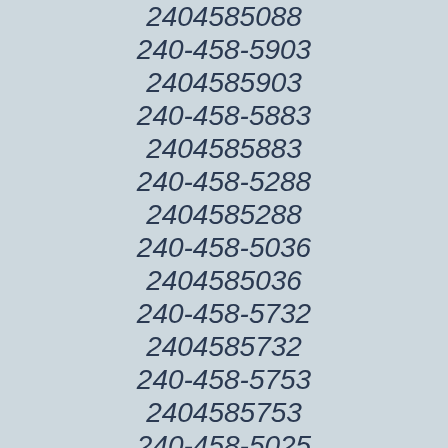2404585088
240-458-5903
2404585903
240-458-5883
2404585883
240-458-5288
2404585288
240-458-5036
2404585036
240-458-5732
2404585732
240-458-5753
2404585753
240-458-5025
2404585025